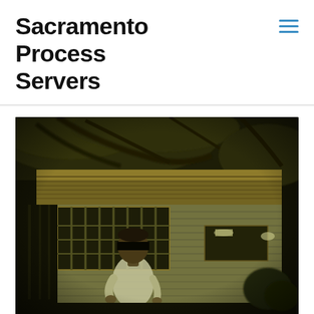Sacramento Process Servers
[Figure (photo): Nighttime photograph of a man in a white t-shirt standing in front of a house with barred windows and a tree overhead. The image appears to be taken with a night-vision or low-light camera, giving it a greenish-yellow tint. The subject's face appears to be obscured/redacted with a black bar.]